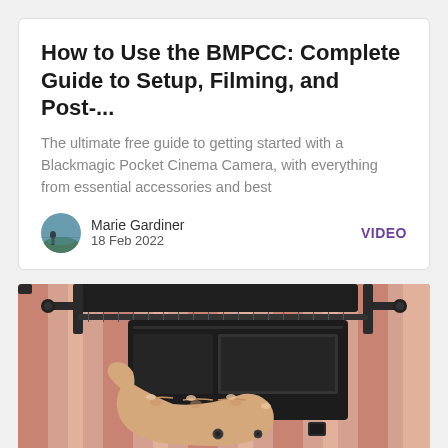How to Use the BMPCC: Complete Guide to Setup, Filming, and Post-...
The ultimate free guide to getting started with a Blackmagic Pocket Cinema Camera, with everything from essential accessories and best
Marie Gardiner
18 Feb 2022
VIDEO
[Figure (photo): Close-up photo of a person's hand holding a BMPCC (Blackmagic Pocket Cinema Camera) in a camera cage rig, with a pink/red striped shirt visible in the background.]